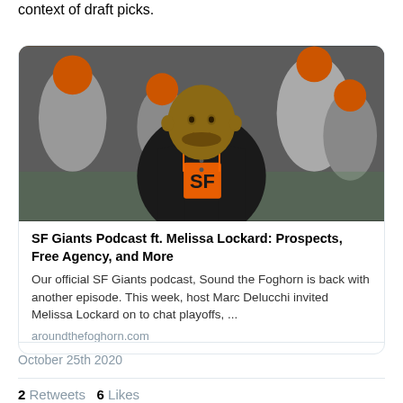context of draft picks.
[Figure (photo): SF Giants baseball player in black and orange SF Giants jersey smiling in the dugout, with other players in orange caps visible in the background.]
SF Giants Podcast ft. Melissa Lockard: Prospects, Free Agency, and More
Our official SF Giants podcast, Sound the Foghorn is back with another episode. This week, host Marc Delucchi invited Melissa Lockard on to chat playoffs, ...
aroundthefoghorn.com
October 25th 2020
2 Retweets   6 Likes